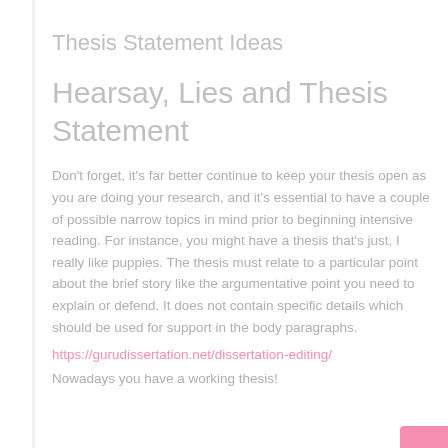Thesis Statement Ideas
Hearsay, Lies and Thesis Statement
Don't forget, it's far better continue to keep your thesis open as you are doing your research, and it's essential to have a couple of possible narrow topics in mind prior to beginning intensive reading. For instance, you might have a thesis that's just, I really like puppies. The thesis must relate to a particular point about the brief story like the argumentative point you need to explain or defend. It does not contain specific details which should be used for support in the body paragraphs.
https://gurudissertation.net/dissertation-editing/
Nowadays you have a working thesis!